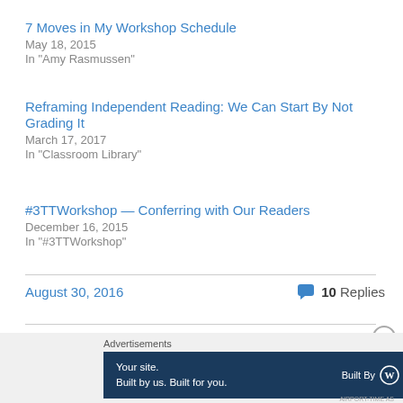7 Moves in My Workshop Schedule
May 18, 2015
In "Amy Rasmussen"
Reframing Independent Reading: We Can Start By Not Grading It
March 17, 2017
In "Classroom Library"
#3TTWorkshop — Conferring with Our Readers
December 16, 2015
In "#3TTWorkshop"
August 30, 2016
10 Replies
Advertisements
[Figure (screenshot): Advertisement banner: 'Your site. Built by us. Built for you.' Built By WordPress logo on dark navy background]